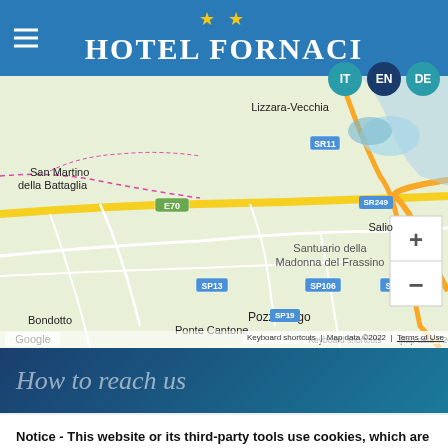★★ HOTEL FORNACI
[Figure (map): Google Maps screenshot showing area around Peschiera del Garda, Italy. Visible labels include San Martino della Battaglia, Lizzara-Vecchia, SR11, Peschiera del Garda, Cavalcaselle, E70, Casa Ottello, Santuario della Madonna del Frassino, VENETO, LOMBARDY, SP13, SP106, SP20, SR249, Pozzolengo, Salio, Bondotto, Ponte Cantone, SP19. Map data ©2022. Keyboard shortcuts. Terms of Use.]
How to reach us
Notice - This website or its third-party tools use cookies, which are necessary to its functioning and required to achieve the purposes illustrated in the cookie policy. Learn more
OK, I agree
Decline